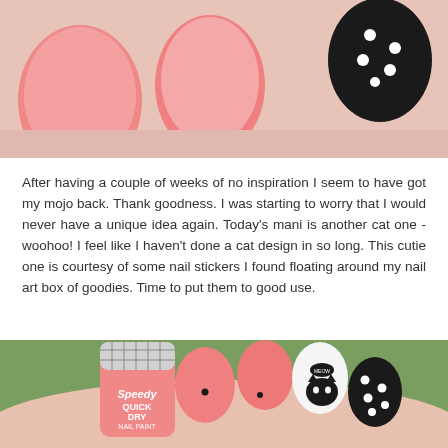[Figure (photo): Close-up photo of manicured nails: pink/coral nails with black polka-dot nail art, partially visible at top of page.]
After having a couple of weeks of no inspiration I seem to have got my mojo back. Thank goodness. I was starting to worry that I would never have a unique idea again. Today's mani is another cat one - woohoo! I feel like I haven't done a cat design in so long. This cutie one is courtesy of some nail stickers I found floating around my nail art box of goodies. Time to put them to good use.
[Figure (photo): Photo of hand holding a 'Speedy Quick Dry Nail Paint' polish bottle in coral/pink, with nails showing: pink nails with small black dot, white nail with black cat face sticker and 'MEOW' speech bubble, and black nail with white polka dots.]